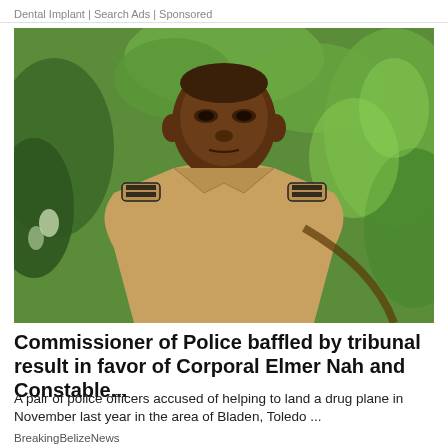Dental Implant | Search Ads | Sponsored
[Figure (photo): A police commissioner in a tan/khaki uniform with black epaulettes, standing outdoors in front of green tropical foliage.]
Commissioner of Police baffled by tribunal result in favor of Corporal Elmer Nah and Constable...
A pair of police officers accused of helping to land a drug plane in November last year in the area of Bladen, Toledo ...
BreakingBelizeNews